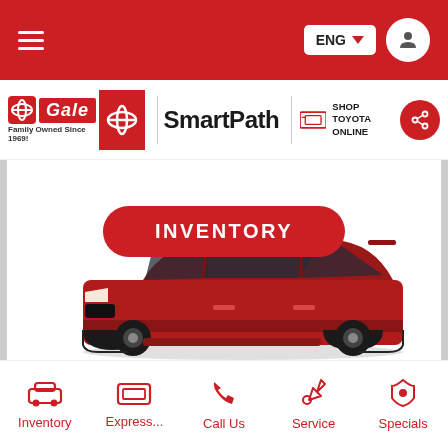ENG ▼ [user icon]
[Figure (logo): Gale Toyota logo with SmartPath branding and Shop Toyota Online link]
[Figure (photo): Red Toyota RAV4 SUV side view on white background with red INVENTORY button above]
Inventory | Express... | Call Us | Service | Specials